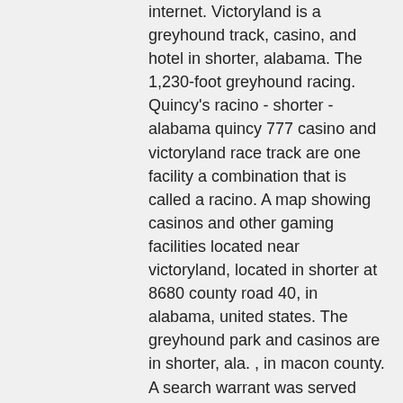internet. Victoryland is a greyhound track, casino, and hotel in shorter, alabama. The 1,230-foot greyhound racing. Quincy's racino - shorter - alabama quincy 777 casino and victoryland race track are one facility a combination that is called a racino. A map showing casinos and other gaming facilities located near victoryland, located in shorter at 8680 county road 40, in alabama, united states. The greyhound park and casinos are in shorter, ala. , in macon county. A search warrant was served tuesday at the victoryland casino in shorter, ala. By law enforcement agents from the alabama attorney general's. Quincy 777 casino and victoryland race track were located at 8680 county road 40, in shorter, alabama. Currently victoryland greyhound park is open for. Quincy's 777 is the casino at the facility which has more than seven thousand slot machines. The oasis hotel which has its own coffee shop and restaurant is. Alabama